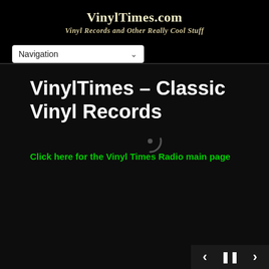VinylTimes.com — Vinyl Records and Other Really Cool Stuff
Navigation
VinylTimes – Classic Vinyl Records
Click here for the Vinyl Times Radio main page